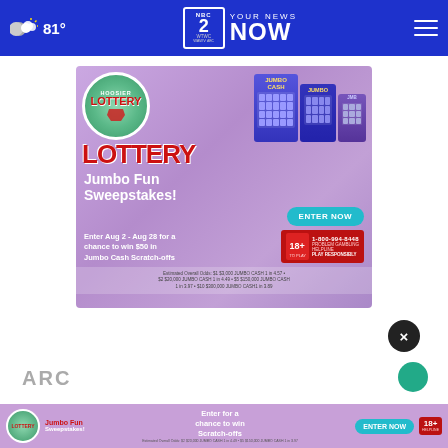81° | YOUR NEWS NOW — WTWC NBC 2 / WAWV ABC
[Figure (screenshot): Hoosier Lottery Jumbo Fun Sweepstakes advertisement. Enter Aug 2 - Aug 28 for a chance to win $50 in Jumbo Cash Scratch-offs. Enter Now button. 1-800-994-8448 Problem Gambling Helpline. 18+ to play. Estimated Overall Odds: $1 $3,000 JUMBO CASH 1 in 4.57 • $2 $20,000 JUMBO CASH 1 in 4.49 • $5 $150,000 JUMBO CASH 1 in 3.97 • $10 $300,000 JUMBO CASH 1 in 3.89]
[Figure (screenshot): Bottom banner Hoosier Lottery ad: Jumbo Fun Sweepstakes! Enter for a chance to win Scratch-offs. ENTER NOW button. 18+ helpline info.]
ARC